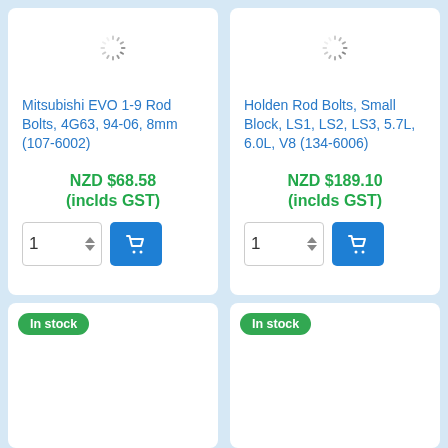[Figure (screenshot): Product listing card for Mitsubishi EVO 1-9 Rod Bolts showing loading spinner, product title in blue, price in green, quantity selector and add-to-cart button]
Mitsubishi EVO 1-9 Rod Bolts, 4G63, 94-06, 8mm (107-6002)
NZD $68.58 (inclds GST)
[Figure (screenshot): Product listing card for Holden Rod Bolts showing loading spinner, product title in blue, price in green, quantity selector and add-to-cart button]
Holden Rod Bolts, Small Block, LS1, LS2, LS3, 5.7L, 6.0L, V8 (134-6006)
NZD $189.10 (inclds GST)
In stock
In stock